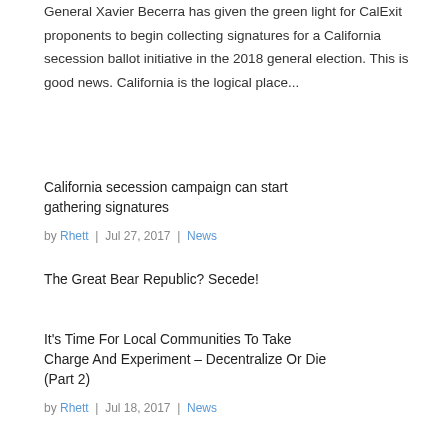General Xavier Becerra has given the green light for CalExit proponents to begin collecting signatures for a California secession ballot initiative in the 2018 general election. This is good news. California is the logical place...
California secession campaign can start gathering signatures
by Rhett | Jul 27, 2017 | News
The Great Bear Republic? Secede!
It's Time For Local Communities To Take Charge And Experiment – Decentralize Or Die (Part 2)
by Rhett | Jul 18, 2017 | News